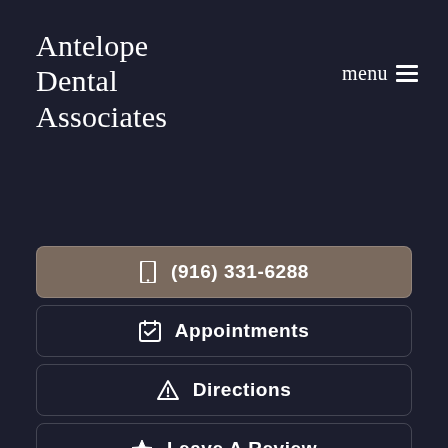Antelope Dental Associates
menu ≡
☐  (916) 331-6288
Appointments
Directions
Leave A Review